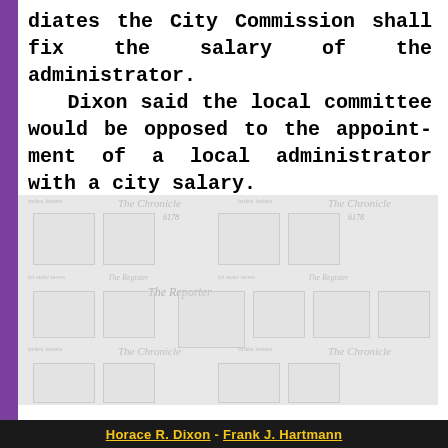diates the City Commission shall fix the salary of the administrator. Dixon said the local committee would be opposed to the appointment of a local administrator with a city salary. Commissioner Frank J. Hart-mann, who...
[Figure (other): Watermark/background image showing repeated newspaper mastheads including 'The Chronicle', 'The Reporter', 'The Register', 'Tri-State News' in a tiled watermark pattern.]
Horace R. Dixon - Frank J. Hartmann